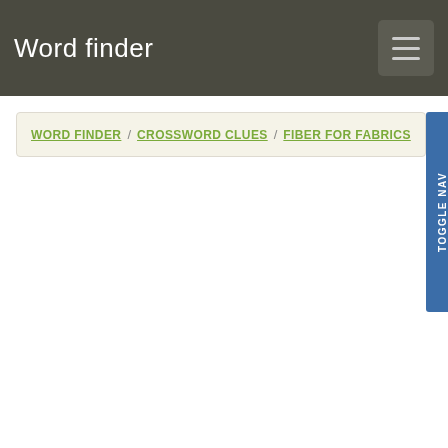Word finder
WORD FINDER / CROSSWORD CLUES / FIBER FOR FABRICS
TOGGLE NAV